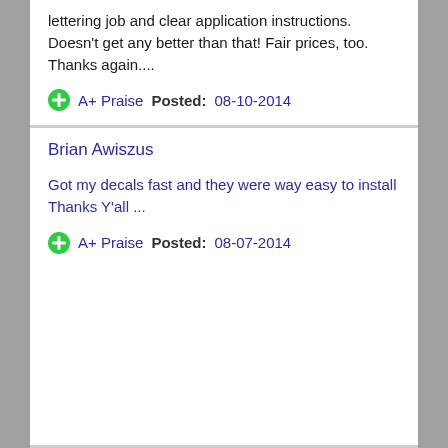lettering job and clear application instructions. Doesn't get any better than that! Fair prices, too. Thanks again....
A+ Praise  Posted:  08-10-2014
Brian Awiszus
Got my decals fast and they were way easy to install Thanks Y'all ...
A+ Praise  Posted:  08-07-2014